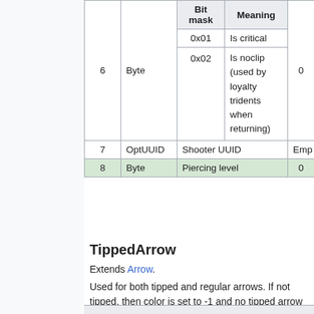| Field | Type | Bit mask | Meaning | Default |
| --- | --- | --- | --- | --- |
| 6 | Byte | 0x01 | Is critical | 0 |
|  |  | 0x02 | Is noclip (used by loyalty tridents when returning) |  |
| 7 | OptUUID |  | Shooter UUID | Emp |
| 8 | Byte |  | Piercing level | 0 |
TippedArrow
Extends Arrow.
Used for both tipped and regular arrows. If not tipped, then color is set to -1 and no tipped arrow particles are used.